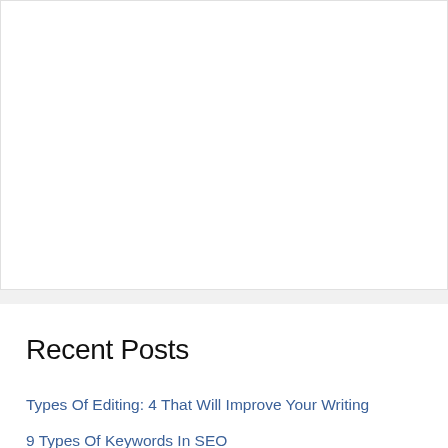Recent Posts
Types Of Editing: 4 That Will Improve Your Writing
9 Types Of Keywords In SEO